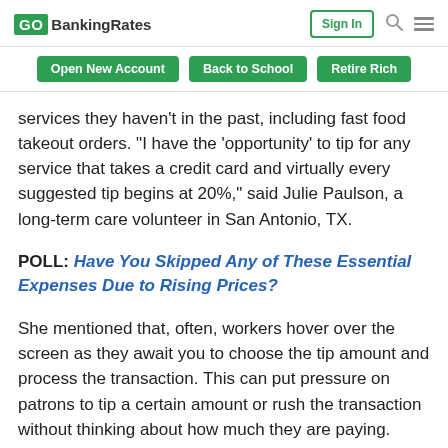GOBankingRates | Sign In
Open New Account | Back to School | Retire Rich
services they haven't in the past, including fast food takeout orders. “I have the ‘opportunity’ to tip for any service that takes a credit card and virtually every suggested tip begins at 20%,” said Julie Paulson, a long-term care volunteer in San Antonio, TX.
POLL: Have You Skipped Any of These Essential Expenses Due to Rising Prices?
She mentioned that, often, workers hover over the screen as they await you to choose the tip amount and process the transaction. This can put pressure on patrons to tip a certain amount or rush the transaction without thinking about how much they are paying.